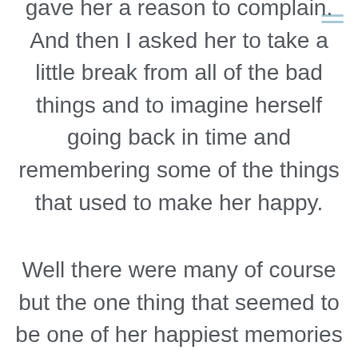[Figure (other): Hamburger menu icon (three horizontal lines) in light blue, top right corner]
gave her a reason to complain. And then I asked her to take a little break from all of the bad things and to imagine herself going back in time and remembering some of the things that used to make her happy.
Well there were many of course but the one thing that seemed to be one of her happiest memories was that she used to